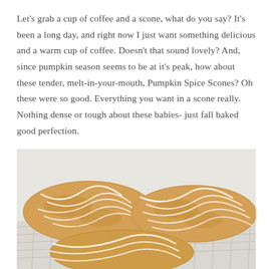Let's grab a cup of coffee and a scone, what do you say? It's been a long day, and right now I just want something delicious and a warm cup of coffee. Doesn't that sound lovely? And, since pumpkin season seems to be at it's peak, how about these tender, melt-in-your-mouth, Pumpkin Spice Scones? Oh these were so good. Everything you want in a scone really. Nothing dense or tough about these babies- just fall baked good perfection.
[Figure (photo): Close-up photo of glazed pumpkin spice scones with white icing drizzled on top, resting on a wire cooling rack. The scones are golden brown and triangular in shape.]